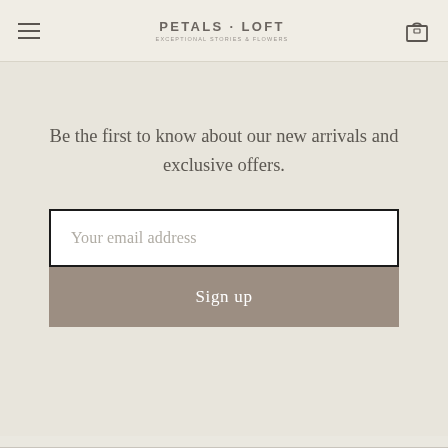PETALS · LOFT
Be the first to know about our new arrivals and exclusive offers.
Your email address
Sign up